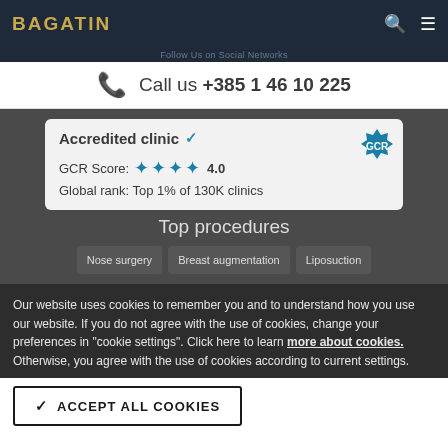Follow Us on Social Networks
BAGATIN
Call us +385 1 46 10 225
Accredited clinic ✓
GCR Score: ★★★★ 4.0
Global rank: Top 1% of 130K clinics
Top procedures
Nose surgery
Breast augmentation
Liposuction
Our website uses cookies to remember you and to understand how you use our website. If you do not agree with the use of cookies, change your preferences in "cookie settings". Click here to learn more about cookies. Otherwise, you agree with the use of cookies according to current settings.
ACCEPT ALL COOKIES